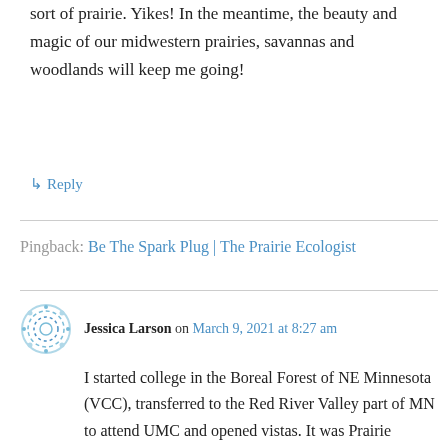sort of prairie. Yikes! In the meantime, the beauty and magic of our midwestern prairies, savannas and woodlands will keep me going!
↳ Reply
Pingback: Be The Spark Plug | The Prairie Ecologist
Jessica Larson on March 9, 2021 at 8:27 am
I started college in the Boreal Forest of NE Minnesota (VCC), transferred to the Red River Valley part of MN to attend UMC and opened vistas. It was Prairie Ecology with Ross Heir that did it for me. His power point presentation and talk about settlers hitting the tall grass prairie with reactions of running back for the trees or